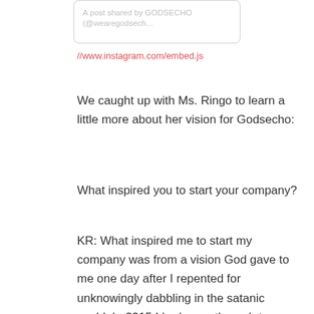[Figure (screenshot): Embedded Instagram post box with gray border showing text 'A post shared by GODSECHO (@wearegodsech...']
//www.instagram.com/embed.js
We caught up with Ms. Ringo to learn a little more about her vision for Godsecho:
What inspired you to start your company?
KR: What inspired me to start my company was from a vision God gave to me one day after I repented for unknowingly dabbling in the satanic world. In 2015 I had gone through two or three years of trying to “live life without God so much”, per say. At the time, my life wasn’t going exactly the way I wanted it to go and I felt that God wasn’t